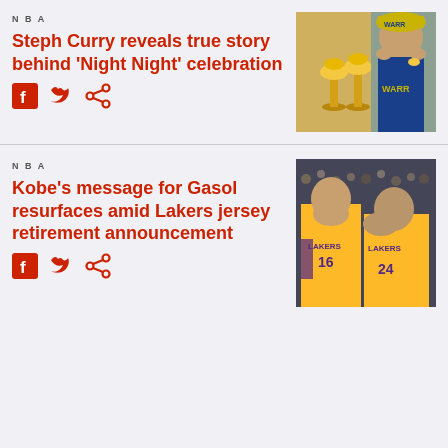NBA
Steph Curry reveals true story behind 'Night Night' celebration
[Figure (photo): Steph Curry posing with NBA championship trophies, wearing Warriors championship hat]
NBA
Kobe's message for Gasol resurfaces amid Lakers jersey retirement announcement
[Figure (photo): Two Lakers players (#16 and #24) in yellow jerseys with heads bowed together]